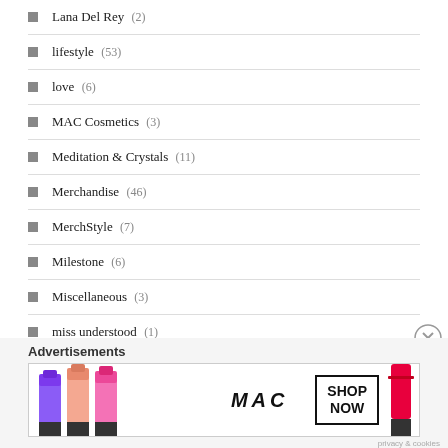Lana Del Rey (2)
lifestyle (53)
love (6)
MAC Cosmetics (3)
Meditation & Crystals (11)
Merchandise (46)
MerchStyle (7)
Milestone (6)
Miscellaneous (3)
miss understood (1)
Nails (3)
nasty gal (27)
Advertisements
[Figure (photo): MAC Cosmetics advertisement banner showing colorful lipsticks and SHOP NOW button]